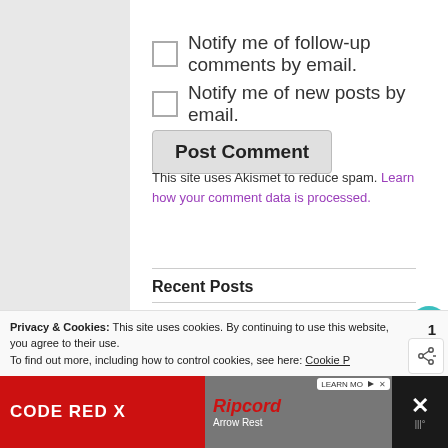Notify me of follow-up comments by email.
Notify me of new posts by email.
Post Comment
This site uses Akismet to reduce spam. Learn how your comment data is processed.
Recent Posts
Making Life Worth Living: Tips for Elderly
Privacy & Cookies: This site uses cookies. By continuing to use this website, you agree to their use. To find out more, including how to control cookies, see here: Cookie P
[Figure (screenshot): Advertisement banner: CODE RED X fishing reel ad with Ripcord Arrow Rest branding on dark background]